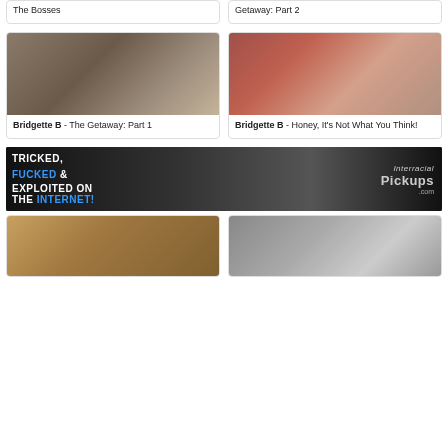The Bosses
Getaway: Part 2
[Figure (photo): Two women in bedroom scene]
Bridgette B - The Getaway: Part 1
[Figure (photo): Two women in red lingerie scene]
Bridgette B - Honey, It's Not What You Think!
[Figure (photo): Banner advertisement: TRICKED, FUCKED & EXPLOITED ON THE INTERNET! - InterracialPickups.com]
[Figure (photo): Bottom left thumbnail photo]
[Figure (photo): Bottom right thumbnail photo]